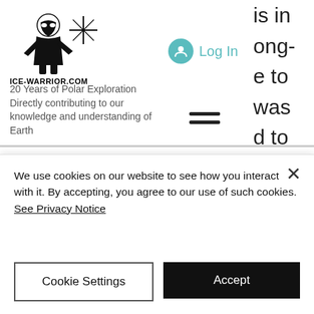[Figure (logo): Ice-Warrior.com logo: warrior figure silhouette with star/cross symbol above]
ICE-WARRIOR.COM
Log In
20 Years of Polar Exploration
Directly contributing to our knowledge and understanding of Earth
ss it; in other words go back to university. I simply couldn't do that. It would have been going backwards a long way. So I looked around at ways of being paid to be a mountaineer and although I wasn't
We use cookies on our website to see how you interact with it. By accepting, you agree to our use of such cookies. See Privacy Notice
Cookie Settings
Accept